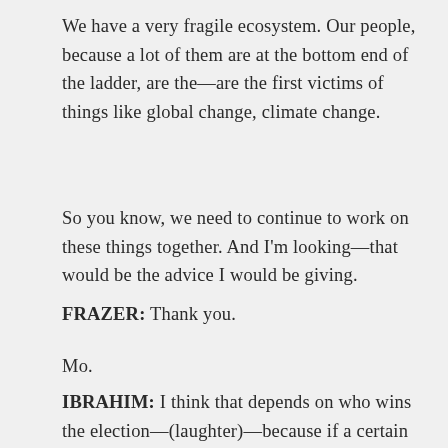We have a very fragile ecosystem. Our people, because a lot of them are at the bottom end of the ladder, are the—are the first victims of things like global change, climate change.
So you know, we need to continue to work on these things together. And I'm looking—that would be the advice I would be giving.
FRAZER: Thank you.
Mo.
IBRAHIM: I think that depends on who wins the election—(laughter)—because if a certain candidate wins—now African people, as you know, are black—(laughter)—half of them are Muslims. It will not—